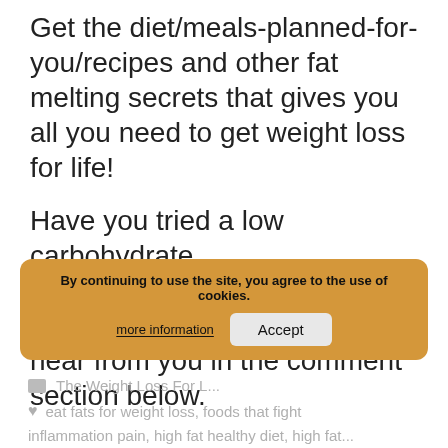Get the diet/meals-planned-for-you/recipes and other fat melting secrets that gives you all you need to get weight loss for life!
Have you tried a low carbohydrate high/fat/high/protein diet? How did it go for you? I’d love to hear from you in the comment section below.
By continuing to use the site, you agree to the use of cookies. more information Accept
The Weight Loss For L...
eat fats for weight loss, foods that fight
inflammation pain, high fat healthy diet, high fat...